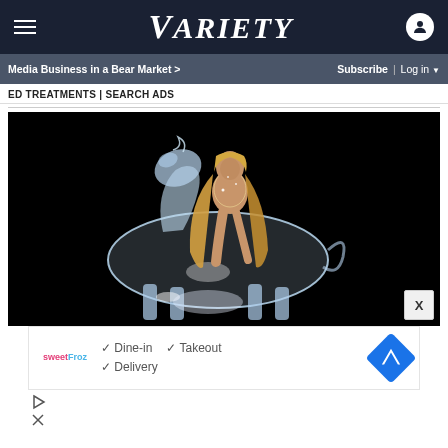VARIETY
Media Business in a Bear Market > | Subscribe | Log in
ED TREATMENTS | SEARCH ADS
[Figure (photo): Woman in a crystal/sparkly bodysuit sitting on a translucent ice horse sculpture against a black background — Beyonce Renaissance album cover style image]
✓ Dine-in ✓ Takeout ✓ Delivery (sweetFroz ad with Google Maps navigation icon)